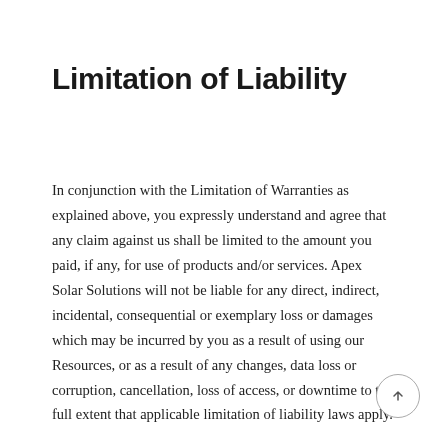Limitation of Liability
In conjunction with the Limitation of Warranties as explained above, you expressly understand and agree that any claim against us shall be limited to the amount you paid, if any, for use of products and/or services. Apex Solar Solutions will not be liable for any direct, indirect, incidental, consequential or exemplary loss or damages which may be incurred by you as a result of using our Resources, or as a result of any changes, data loss or corruption, cancellation, loss of access, or downtime to the full extent that applicable limitation of liability laws apply.